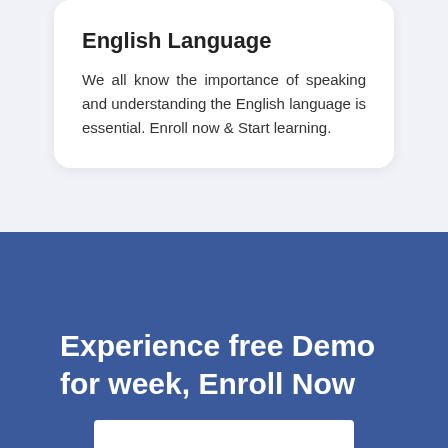English Language
We all know the importance of speaking and understanding the English language is essential. Enroll now & Start learning.
Experience free Demo for week, Enroll Now